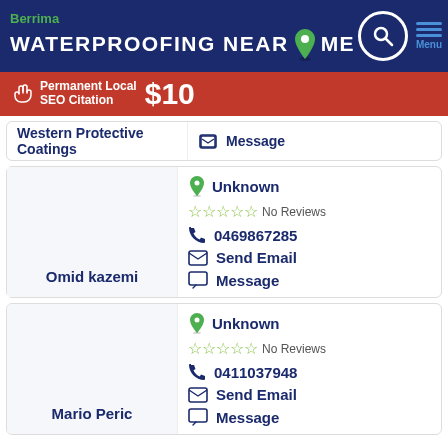Berrima WATERPROOFING NEAR ME
[Figure (infographic): Red ad banner: Permanent Local SEO Citation $10]
Western Protective Coatings — Message
Omid kazemi — Unknown — No Reviews — 0469867285 — Send Email — Message
Mario Peric — Unknown — No Reviews — 0411037948 — Send Email — Message